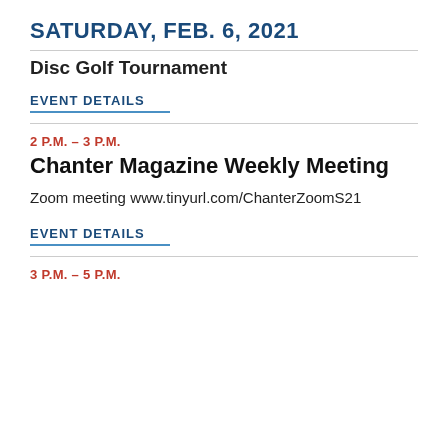SATURDAY, FEB. 6, 2021
Disc Golf Tournament
EVENT DETAILS
2 P.M. – 3 P.M.
Chanter Magazine Weekly Meeting
Zoom meeting
www.tinyurl.com/ChanterZoomS21
EVENT DETAILS
3 P.M. – 5 P.M.